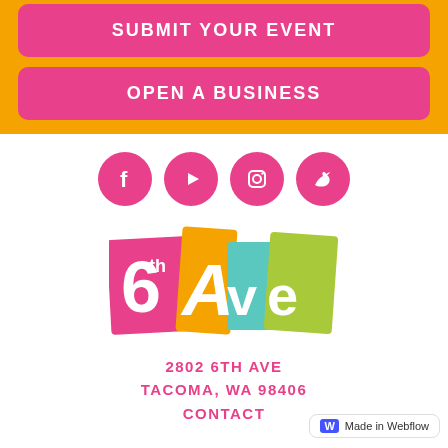SUBMIT YOUR EVENT
OPEN A BUSINESS
[Figure (infographic): Social media icons row: Facebook, YouTube, Instagram, Twitter — pink circles with white icons]
[Figure (logo): 6th Ave logo with colorful letter blocks spelling 6th Ave]
2802 6TH AVE
TACOMA, WA 98406
CONTACT